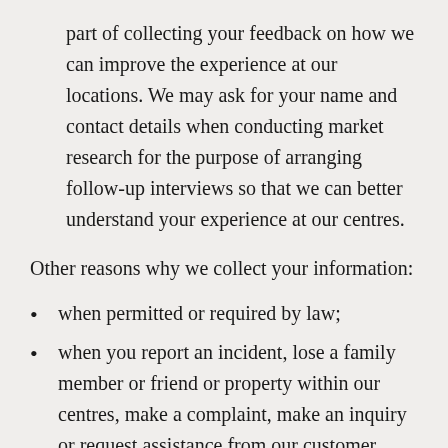part of collecting your feedback on how we can improve the experience at our locations. We may ask for your name and contact details when conducting market research for the purpose of arranging follow-up interviews so that we can better understand your experience at our centres.
Other reasons why we collect your information:
when permitted or required by law;
when you report an incident, lose a family member or friend or property within our centres, make a complaint, make an inquiry or request assistance from our customer service desk, centre management office or security officers, or provide other feedback to us;